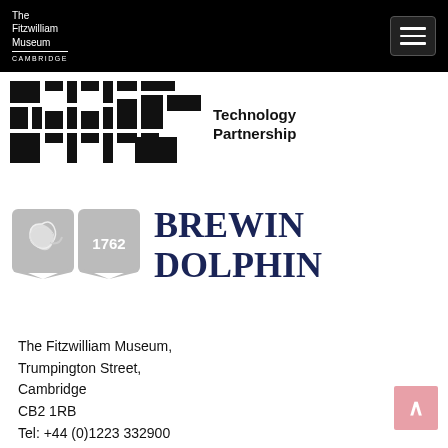The Fitzwilliam Museum CAMBRIDGE
[Figure (logo): Abstract pixel/block pattern logo (black squares arranged in a mosaic pattern) with 'Technology Partnership' text to the right]
[Figure (logo): Brewin Dolphin logo: two grey shield icons (one with dolphin, one with '1762') alongside large dark navy 'BREWIN DOLPHIN' text]
The Fitzwilliam Museum,
Trumpington Street,
Cambridge
CB2 1RB
Tel: +44 (0)1223 332900